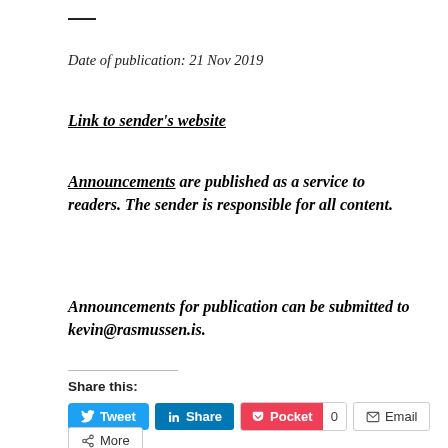—
Date of publication: 21 Nov 2019
Link to sender's website
Announcements are published as a service to readers. The sender is responsible for all content.
Announcements for publication can be submitted to kevin@rasmussen.is.
Share this:
Tweet  Share  Pocket  0  Email  More